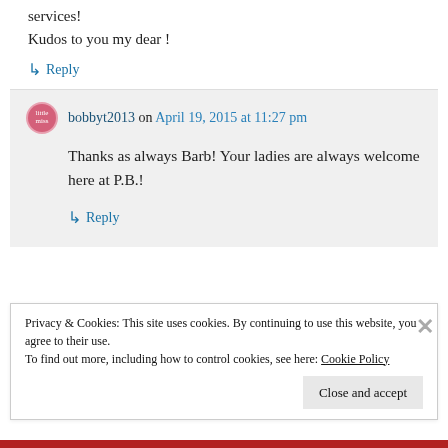services!
Kudos to you my dear !
↳ Reply
bobbyt2013 on April 19, 2015 at 11:27 pm
Thanks as always Barb! Your ladies are always welcome here at P.B.!
↳ Reply
Privacy & Cookies: This site uses cookies. By continuing to use this website, you agree to their use.
To find out more, including how to control cookies, see here: Cookie Policy
Close and accept